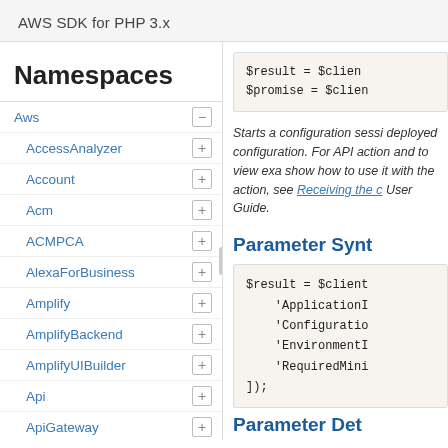AWS SDK for PHP 3.x
Namespaces
Aws
AccessAnalyzer
Account
Acm
ACMPCA
AlexaForBusiness
Amplify
AmplifyBackend
AmplifyUIBuilder
Api
ApiGateway
ApiGatewayManagementApi
$result = $clien
$promise = $clien
Starts a configuration sessi deployed configuration. For API action and to view exa show how to use it with the action, see Receiving the c User Guide.
Parameter Synt
$result = $client
    'ApplicationI
    'Configuratio
    'EnvironmentI
    'RequiredMini
]);
Parameter Det